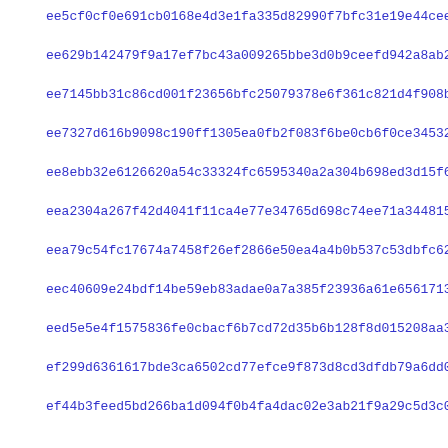ee5cf0cf0e691cb0168e4d3e1fa335d82990f7bfc31e19e44cee45e3c7484
ee629b142479f9a17ef7bc43a009265bbe3d0b9ceefd942a8ab2a9f19668c
ee7145bb31c86cd001f23656bfc25079378e6f361c821d4f908b04e846d28
ee7327d616b9098c190ff1305ea0fb2f083f6be0cb6f0ce34532b36439d3f
ee8ebb32e6126620a54c33324fc6595340a2a304b698ed3d15f6607df9cf5
eea2304a267f42d4041f11ca4e77e34765d698c74ee71a344815a1c11730b
eea79c54fc17674a7458f26ef2866e50ea4a4b0b537c53dbfc6255555625f
eec40609e24bdf14be59eb83adae0a7a385f23936a61e6561713d17abe4d6
eed5e5e4f1575836fe0cbacf6b7cd72d35b6b128f8d015208aa36909dc6f7
ef299d6361617bde3ca6502cd77efce9f873d8cd3dfdb79a6dd004d2235b7
ef44b3feed5bd266ba1d094f0b4fa4dac02e3ab21f9a29c5d3c0175525e82